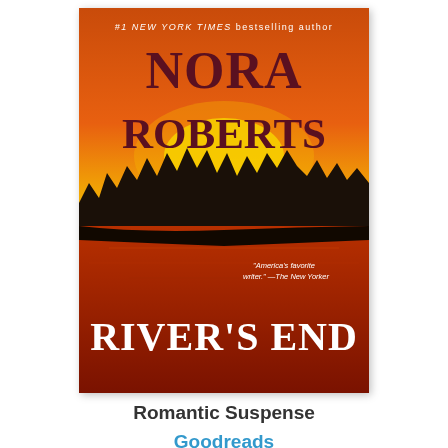[Figure (illustration): Book cover of 'River's End' by Nora Roberts. Orange and red tones with silhouetted pine trees and a river. Top text reads '#1 NEW YORK TIMES bestselling author'. Author name 'NORA ROBERTS' in large dark maroon serif letters. A pull quote reads: "America's favorite writer." —The New Yorker. Book title 'RIVER'S END' in large white serif letters at bottom.]
Romantic Suspense
Goodreads
Kindle | NOOK